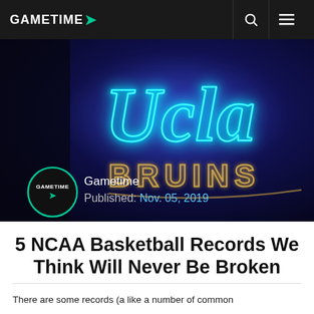GAMETIME
[Figure (photo): UCLA Bruins neon sign glowing in blue and white against a dark background, with Gametime logo avatar, author name 'Gametime', and published date 'Nov. 05, 2019']
5 NCAA Basketball Records We Think Will Never Be Broken
There are some records (a like a number of common)